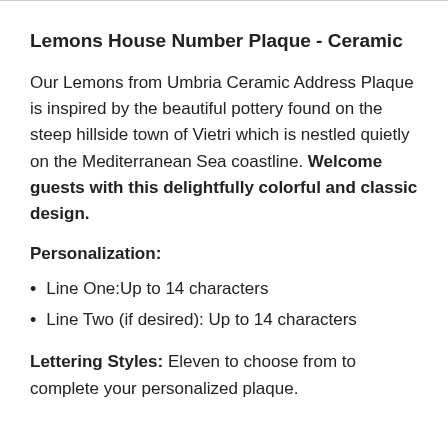Lemons House Number Plaque - Ceramic
Our Lemons from Umbria Ceramic Address Plaque is inspired by the beautiful pottery found on the steep hillside town of Vietri which is nestled quietly on the Mediterranean Sea coastline. Welcome guests with this delightfully colorful and classic design.
Personalization:
Line One:Up to 14 characters
Line Two (if desired): Up to 14 characters
Lettering Styles: Eleven to choose from to complete your personalized plaque.